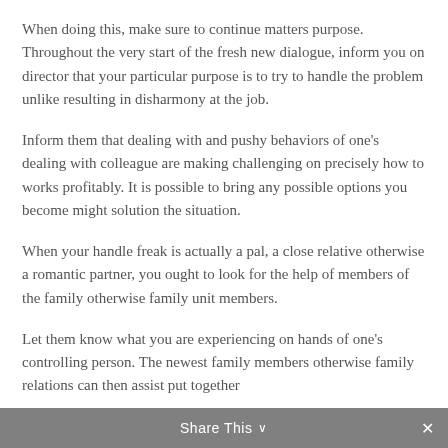When doing this, make sure to continue matters purpose. Throughout the very start of the fresh new dialogue, inform you on director that your particular purpose is to try to handle the problem unlike resulting in disharmony at the job.
Inform them that dealing with and pushy behaviors of one’s dealing with colleague are making challenging on precisely how to works profitably. It is possible to bring any possible options you become might solution the situation.
When your handle freak is actually a pal, a close relative otherwise a romantic partner, you ought to look for the help of members of the family otherwise family unit members.
Let them know what you are experiencing on hands of one’s controlling person. The newest family members otherwise family relations can then assist put together
Share This ⌄  ×